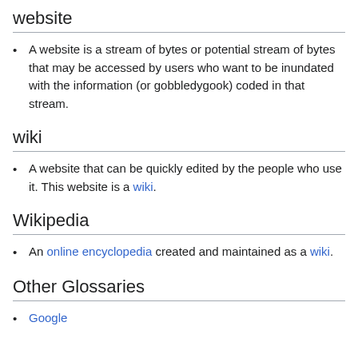website
A website is a stream of bytes or potential stream of bytes that may be accessed by users who want to be inundated with the information (or gobbledygook) coded in that stream.
wiki
A website that can be quickly edited by the people who use it. This website is a wiki.
Wikipedia
An online encyclopedia created and maintained as a wiki.
Other Glossaries
Google